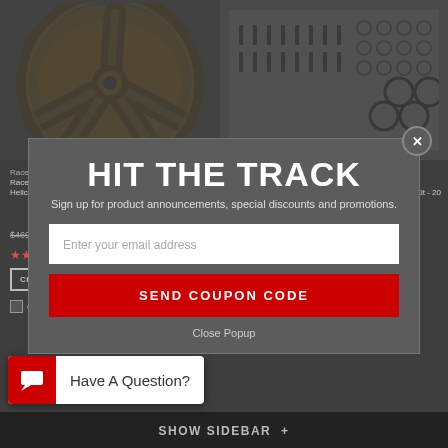[Figure (screenshot): E-commerce page showing a bronze racing wheel on the left and hardware/lug kit on the right, with a popup modal overlay for email signup]
HIT THE TRACK
Sign up for product announcements, special discounts and promotions.
Enter your email address
SEND COUPON CODE
Close Popup
Race Star Industries
Race Star 14mm X 1.5 1.38in. Shank Dodge/Jeep/Chrysler/Charger Closed End Lug Kit - 20 PK #601-
$106.05  $85.56
ADD TO CART ›
Compare
Race Star Drag Star Bracket Racer Bronze Wide Open Hellcat #92-711452BZ
$469.99  $314.87
★★★★★ 5 reviews
CHOOSE OPTIONS ›
Compare
Have A Question?
SHOW SIDEBAR +